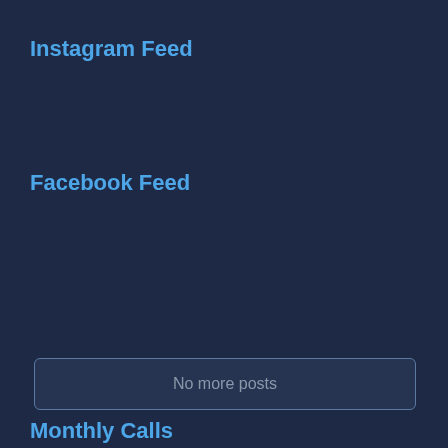Instagram Feed
Facebook Feed
No more posts
Monthly Calls